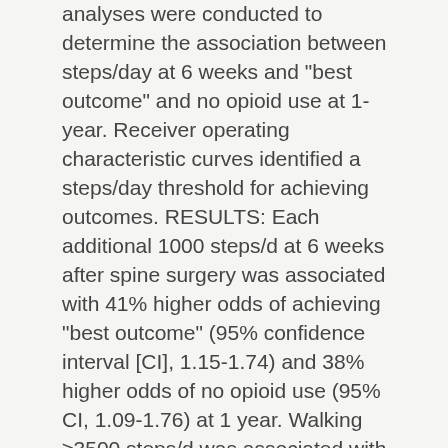analyses were conducted to determine the association between steps/day at 6 weeks and "best outcome" and no opioid use at 1-year. Receiver operating characteristic curves identified a steps/day threshold for achieving outcomes. RESULTS: Each additional 1000 steps/d at 6 weeks after spine surgery was associated with 41% higher odds of achieving "best outcome" (95% confidence interval [CI], 1.15-1.74) and 38% higher odds of no opioid use (95% CI, 1.09-1.76) at 1 year. Walking ≥3500 steps/d was associated with 3.75 times the odds (95% CI, 1.56-9.02) of achieving "best outcome" and 2.37 times the odds (95% CI, 1.07-5.24) of not using opioids. CONCLUSIONS: Walking early after surgery may optimize patient-